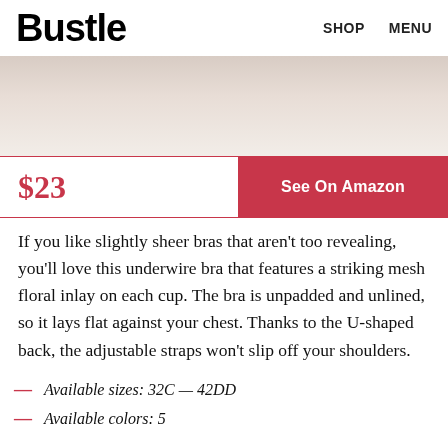Bustle  SHOP  MENU
[Figure (photo): Cropped photo of a person wearing a sheer bra, showing the torso and partial arms against a light background.]
$23
See On Amazon
If you like slightly sheer bras that aren't too revealing, you'll love this underwire bra that features a striking mesh floral inlay on each cup. The bra is unpadded and unlined, so it lays flat against your chest. Thanks to the U-shaped back, the adjustable straps won't slip off your shoulders.
Available sizes: 32C — 42DD
Available colors: 5